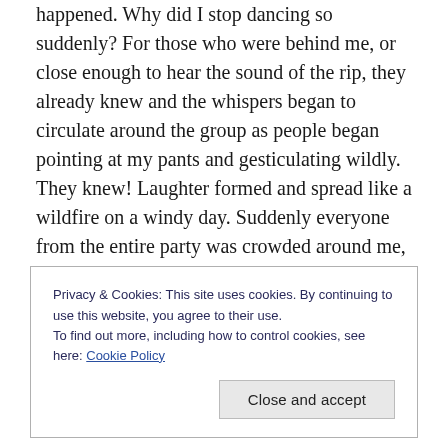happened. Why did I stop dancing so suddenly? For those who were behind me, or close enough to hear the sound of the rip, they already knew and the whispers began to circulate around the group as people began pointing at my pants and gesticulating wildly. They knew! Laughter formed and spread like a wildfire on a windy day. Suddenly everyone from the entire party was crowded around me, laughing, pointing and trying to tempt me away from the safety of my wall. For a good five minutes I was a prisoner on display for this entire party unable to leave the wall that was literally covering my ass. Finally a
Privacy & Cookies: This site uses cookies. By continuing to use this website, you agree to their use.
To find out more, including how to control cookies, see here: Cookie Policy
[Close and accept]